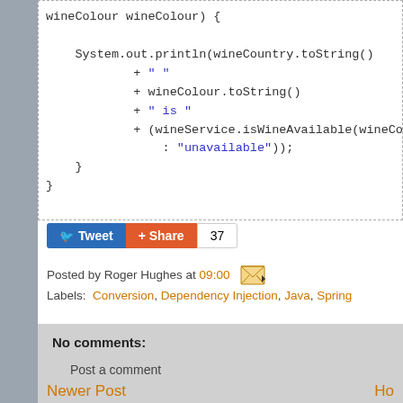[Figure (screenshot): Code snippet showing Java code with System.out.println, string concatenation with wineCountry.toString(), wineColour.toString(), string literals " ", " is ", and a ternary expression with wineService.isWineAvailable, ending in closing braces.]
Tweet | Share | 37
Posted by Roger Hughes at 09:00
Labels: Conversion, Dependency Injection, Java, Spring
No comments:
Post a comment
Newer Post
Ho